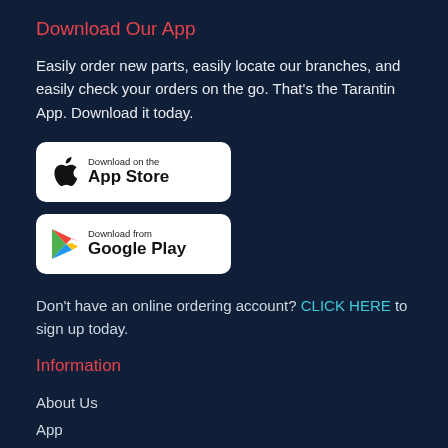Download Our App
Easily order new parts, easily locate our branches, and easily check your orders on the go. That’s the Tarantin App. Download it today.
[Figure (other): App Store badge: Download on the App Store]
[Figure (other): Google Play badge: Download from Google Play]
Don’t have an online ordering account? CLICK HERE to sign up today.
Information
About Us
App
Blog